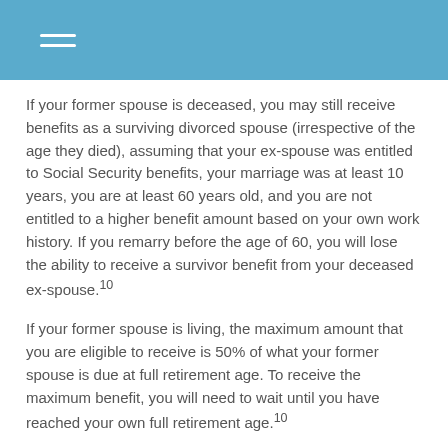If your former spouse is deceased, you may still receive benefits as a surviving divorced spouse (irrespective of the age they died), assuming that your ex-spouse was entitled to Social Security benefits, your marriage was at least 10 years, you are at least 60 years old, and you are not entitled to a higher benefit amount based on your own work history. If you remarry before the age of 60, you will lose the ability to receive a survivor benefit from your deceased ex-spouse.10
If your former spouse is living, the maximum amount that you are eligible to receive is 50% of what your former spouse is due at full retirement age. To receive the maximum benefit, you will need to wait until you have reached your own full retirement age.10
Your benefits are unaffected should your former spouse elect to take Social Security before reaching full retirement age or